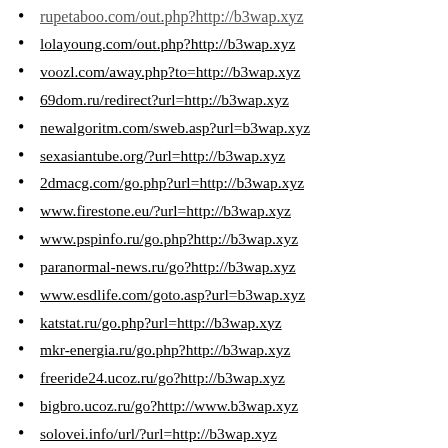rupetaboo.com/out.php?http://b3wap.xyz
lolayoung.com/out.php?http://b3wap.xyz
voozl.com/away.php?to=http://b3wap.xyz
69dom.ru/redirect?url=http://b3wap.xyz
newalgoritm.com/sweb.asp?url=b3wap.xyz
sexasiantube.org/?url=http://b3wap.xyz
2dmacg.com/go.php?url=http://b3wap.xyz
www.firestone.eu/?url=http://b3wap.xyz
www.pspinfo.ru/go.php?http://b3wap.xyz
paranormal-news.ru/go?http://b3wap.xyz
www.esdlife.com/goto.asp?url=b3wap.xyz
katstat.ru/go.php?url=http://b3wap.xyz
mkr-energia.ru/go.php?http://b3wap.xyz
freeride24.ucoz.ru/go?http://b3wap.xyz
bigbro.ucoz.ru/go?http://www.b3wap.xyz
solovei.info/url/?url=http://b3wap.xyz
www.freezer.ru/go?url=http://b3wap.xyz
lolataboo.com/out.php?http://b3wap.xyz
www.kehuda.com/go?url=http://b3wap.xyz